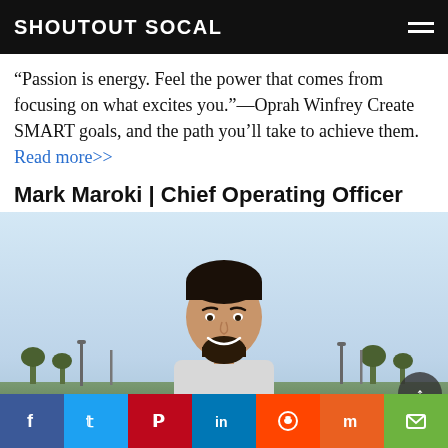SHOUTOUT SOCAL
“Passion is energy. Feel the power that comes from focusing on what excites you.”—Oprah Winfrey Create SMART goals, and the path you’ll take to achieve them. Read more>>
Mark Maroki | Chief Operating Officer
[Figure (photo): Portrait photo of Mark Maroki, a man with dark hair and beard, smiling outdoors against a sky background with trees and lamp posts visible.]
Social share bar: Facebook, Twitter, Pinterest, LinkedIn, Reddit, Mix, Email